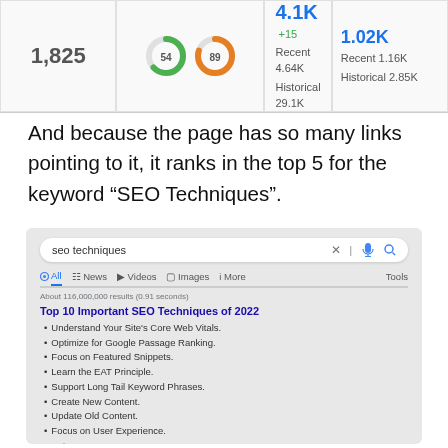[Figure (screenshot): Analytics dashboard screenshot showing metrics: 1,825 links, donut charts showing 54 and 89, 4.1K +15 with Recent 4.64K / Historical 29.1K, and 1.02K with Recent 1.16K / Historical 2.85K]
And because the page has so many links pointing to it, it ranks in the top 5 for the keyword “SEO Techniques”.
[Figure (screenshot): Google search results page for 'seo techniques' showing About 116,000,000 results (0.91 seconds), Top 10 Important SEO Techniques of 2022 with bullet list items and a second result from godelta.com]